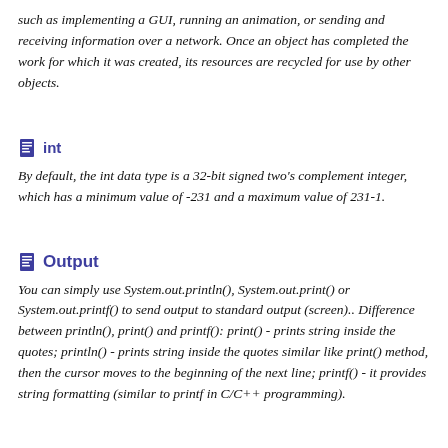such as implementing a GUI, running an animation, or sending and receiving information over a network. Once an object has completed the work for which it was created, its resources are recycled for use by other objects.
int
By default, the int data type is a 32-bit signed two's complement integer, which has a minimum value of -231 and a maximum value of 231-1.
Output
You can simply use System.out.println(), System.out.print() or System.out.printf() to send output to standard output (screen).. Difference between println(), print() and printf(): print() - prints string inside the quotes; println() - prints string inside the quotes similar like print() method, then the cursor moves to the beginning of the next line; printf() - it provides string formatting (similar to printf in C/C++ programming).